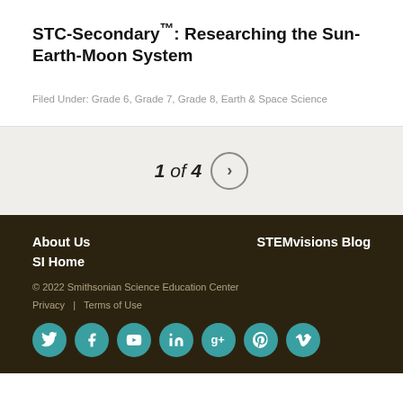STC-Secondary™: Researching the Sun-Earth-Moon System
Filed Under: Grade 6, Grade 7, Grade 8, Earth & Space Science
1 of 4
About Us | STEMvisions Blog | SI Home | © 2022 Smithsonian Science Education Center | Privacy | Terms of Use